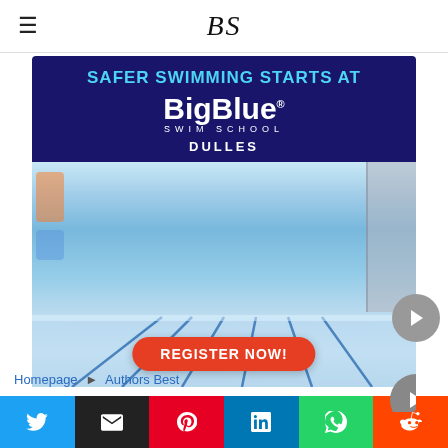BS
[Figure (photo): BigBlue Swim School advertisement banner. Dark navy background with text 'SAFER SWIMMING STARTS AT BigBlue SWIM SCHOOL DULLES' at top. Bottom half shows interior photo of a swim school pool facility with lane dividers and bleachers. Red rounded button reads 'REGISTER NOW!']
Homepage ▶ Authors Best
[Figure (infographic): Social media sharing bar with six colored buttons: Twitter (blue), Email (black), Pinterest (red), LinkedIn (blue), WhatsApp (green), Reddit (orange-red)]